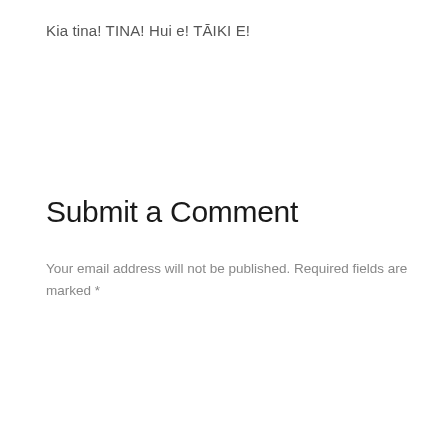Kia tina! TINA! Hui e! TĀIKI E!
Submit a Comment
Your email address will not be published. Required fields are marked *
[Figure (other): Comment input text area with placeholder text 'Comment *']